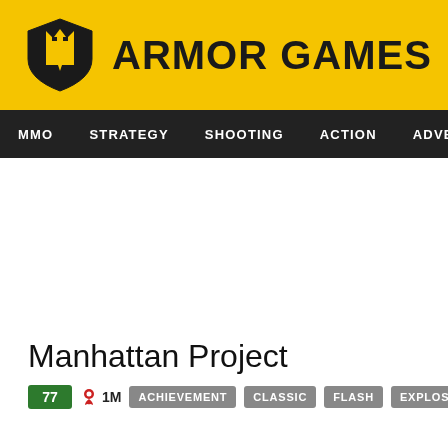ARMOR GAMES
MMO  STRATEGY  SHOOTING  ACTION  ADVENTURE  P
Manhattan Project
77  1M  ACHIEVEMENT  CLASSIC  FLASH  EXPLOSIVE  UPGRADE